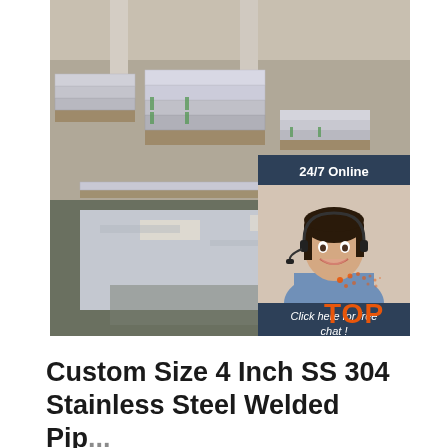[Figure (photo): Warehouse interior with stacks of stainless steel sheets on wooden pallets on a factory floor, with a customer service chat widget overlay showing a female agent with headset, '24/7 Online' text, 'Click here for free chat!' text, and an orange 'QUOTATION' button. A TOP logo appears in the bottom-right corner of the image.]
Custom Size 4 Inch SS 304 Stainless Steel Welded Pip...